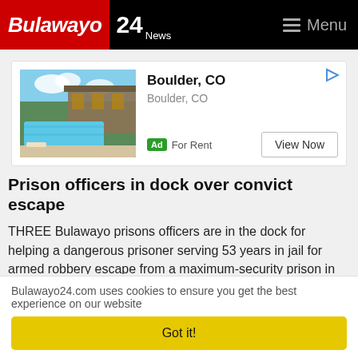Bulawayo 24 News — Menu
[Figure (screenshot): Advertisement banner showing apartment with pool in Boulder, CO — For Rent, View Now button]
Prison officers in dock over convict escape
THREE Bulawayo prisons officers are in the dock for helping a dangerous prisoner serving 53 years in jail for armed robbery escape from a maximum-security prison in broad daylight.Talent Bheki...
Published: 25 Feb 2022 at 07:35hrs | 891 | by Staff reporter
Bulawayo24.com uses cookies to ensure you get the best experience on our website
Got it!